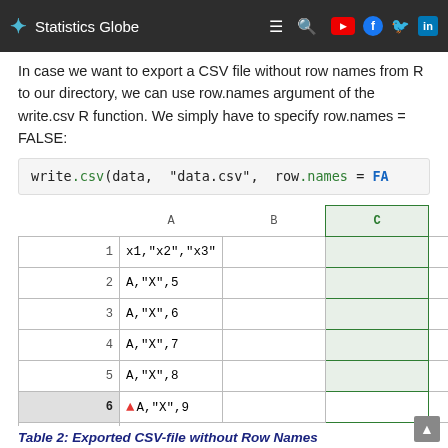Statistics Globe
In case we want to export a CSV file without row names from R to our directory, we can use row.names argument of the write.csv R function. We simply have to specify row.names = FALSE:
[Figure (screenshot): Spreadsheet screenshot showing a CSV export without row names. Columns A, B, C, D shown. Rows 1-7: Row 1 has 'x1,"x2","x3"' in col A; Rows 2-6 have 'A,"X",5' through 'A,"X",9' in col A. Row 6 is highlighted. Row 7 shows red warning triangle and 'No row.names' text in red/pink. Column C is highlighted in green.]
Table 2: Exported CSV-file without Row Names